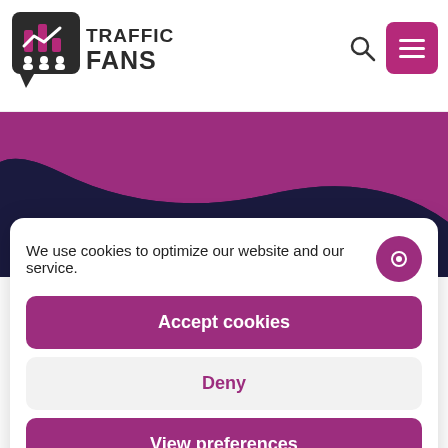Traffic Fans - logo and navigation header
[Figure (screenshot): Purple and dark navy wave hero background section]
We use cookies to optimize our website and our service.
Accept cookies
Deny
View preferences
Privacy Policy  Privacy Policy